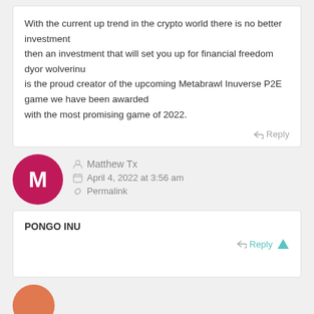With the current up trend in the crypto world there is no better investment then an investment that will set you up for financial freedom dyor wolverinu is the proud creator of the upcoming Metabrawl Inuverse P2E game we have been awarded with the most promising game of 2022.
Reply
Matthew Tx
April 4, 2022 at 3:56 am
Permalink
PONGO INU
Reply